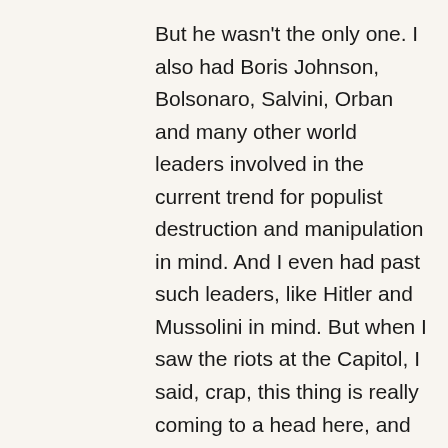But he wasn't the only one. I also had Boris Johnson, Bolsonaro, Salvini, Orban and many other world leaders involved in the current trend for populist destruction and manipulation in mind. And I even had past such leaders, like Hitler and Mussolini in mind. But when I saw the riots at the Capitol, I said, crap, this thing is really coming to a head here, and these images are the perfect illustration for this sad protest song "What's All This Talk?!"
So I decided to try to string them together as a background for the